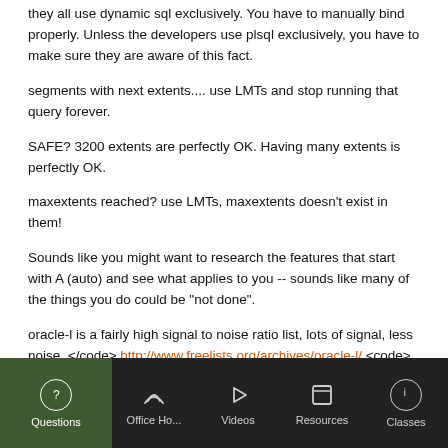they all use dynamic sql exclusively. You have to manually bind properly. Unless the developers use plsql exclusively, you have to make sure they are aware of this fact.
segments with next extents.... use LMTs and stop running that query forever.
SAFE? 3200 extents are perfectly OK. Having many extents is perfectly OK.
maxextents reached? use LMTs, maxextents doesn't exist in them!
Sounds like you might want to research the features that start with A (auto) and see what applies to you -- sounds like many of the things you do could be "not done".
oracle-l is a fairly high signal to noise ratio list, lots of signal, less noise. </code> http://www.freelists.org/archives/oracle-l/ <code> you can review it yourself.
Questions | Office Ho... | Videos | Resources | Classes